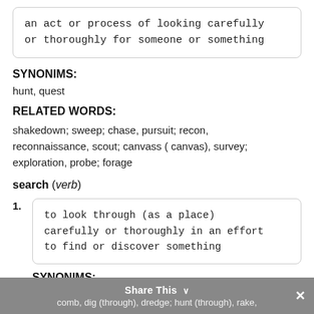an act or process of looking carefully or thoroughly for someone or something
SYNONIMS:
hunt, quest
RELATED WORDS:
shakedown; sweep; chase, pursuit; recon, reconnaissance, scout; canvass ( canvas), survey; exploration, probe; forage
search (verb)
1. to look through (as a place) carefully or thoroughly in an effort to find or discover something
SYNONIMS:
Share This  comb, dig (through), dredge; hunt (through), rake,